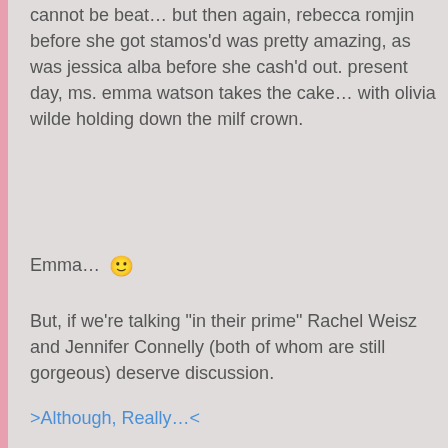cannot be beat... but then again, rebecca romjin before she got stamos'd was pretty amazing, as was jessica alba before she cash'd out. present day, ms. emma watson takes the cake... with olivia wilde holding down the milf crown.
Emma... 🙂
But, if we're talking "in their prime" Rachel Weisz and Jennifer Connelly (both of whom are still gorgeous) deserve discussion.
>Although, Really...<